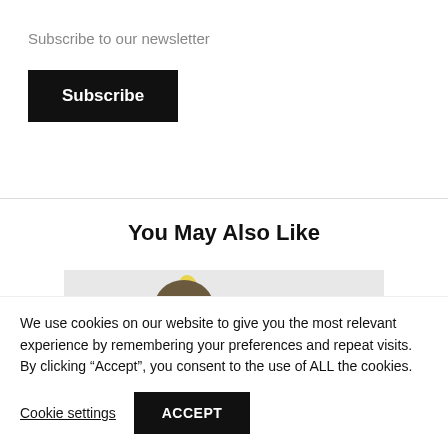Subscribe to our newsletter
Subscribe
You May Also Like
[Figure (photo): Article thumbnail image with a food/bakery item on a light gray background]
We use cookies on our website to give you the most relevant experience by remembering your preferences and repeat visits. By clicking “Accept”, you consent to the use of ALL the cookies.
Cookie settings
ACCEPT